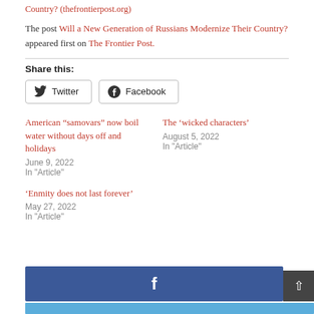Country? (thefrontierpost.org) appeared first on The Frontier Post.
Share this:
Twitter  Facebook
American “samovars” now boil water without days off and holidays
June 9, 2022
In "Article"
The ‘wicked characters’
August 5, 2022
In "Article"
‘Enmity does not last forever’
May 27, 2022
In "Article"
[Figure (logo): Facebook blue bar with white f icon and a dark back-to-top arrow button, plus a light blue bar at the bottom]